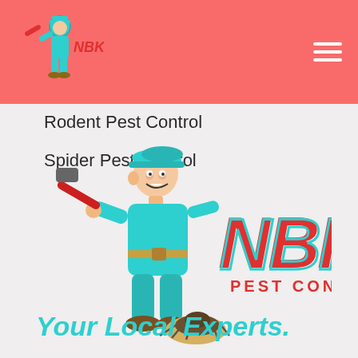NBK Pest Control - header with logo and hamburger menu
Rodent Pest Control
Spider Pest Control
[Figure (logo): NBK Pest Control logo featuring a cartoon pest control worker in teal uniform holding a red tool, standing over a pest, with large red and teal NBK lettering and 'PEST CONTROL' below]
Your Local Experts.